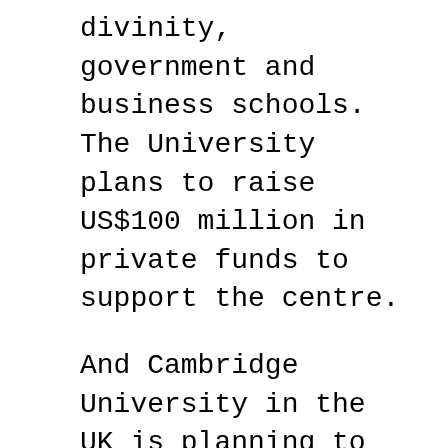divinity, government and business schools. The University plans to raise US$100 million in private funds to support the centre.
And Cambridge University in the UK is planning to create a world-class nerve centre for stem cell technology headed up by an American scientist, Professor Roger Pedersen. Pedersen, a “stem-cell refugee” who was lured to the UK from San Francisco because of the frosty climate for embryonic stem cell research in his own country, has ambitious plans for commercialising research. He